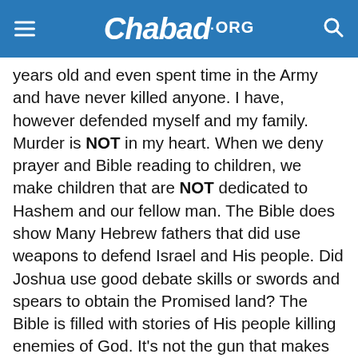Chabad.ORG
years old and even spent time in the Army and have never killed anyone. I have, however defended myself and my family. Murder is NOT in my heart. When we deny prayer and Bible reading to children, we make children that are NOT dedicated to Hashem and our fellow man. The Bible does show Many Hebrew fathers that did use weapons to defend Israel and His people. Did Joshua use good debate skills or swords and spears to obtain the Promised land? The Bible is filled with stories of His people killing enemies of God. It’s not the gun that makes you a good man or a murderer, but the content of your heart. Just as a child must be taught not to lie and steal, he must also be taught to love his brother. If we leave out Biblical teaching, you are raising a murderer.